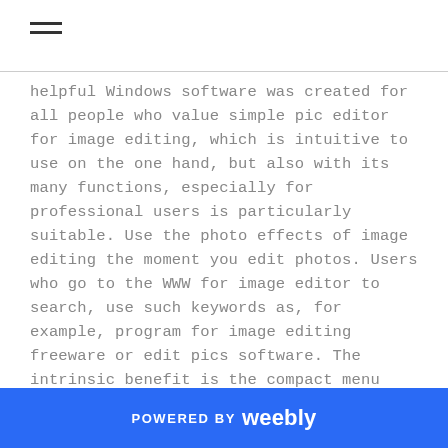☰
helpful Windows software was created for all people who value simple pic editor for image editing, which is intuitive to use on the one hand, but also with its many functions, especially for professional users is particularly suitable. Use the photo effects of image editing the moment you edit photos. Users who go to the WWW for image editor to search, use such keywords as, for example, program for image editing freeware or edit pics software. The intrinsic benefit is the compact menu layout of the image editor for airbrush a picture.
POWERED BY weebly